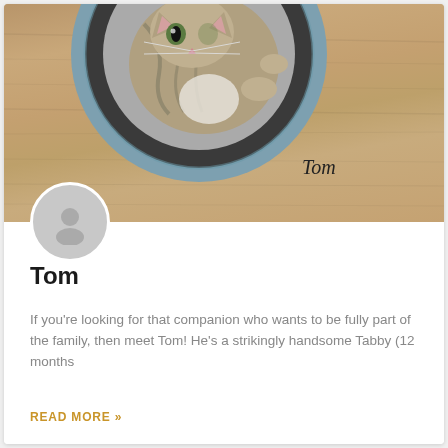[Figure (photo): A tabby cat lying in a round grey cat bed on a wooden floor surface, photographed from above. The cat is looking up at the camera. The word 'Tom' is handwritten in the lower right of the photo.]
Tom
If you're looking for that companion who wants to be fully part of the family, then meet Tom!  He's a strikingly handsome Tabby (12 months
READ MORE »